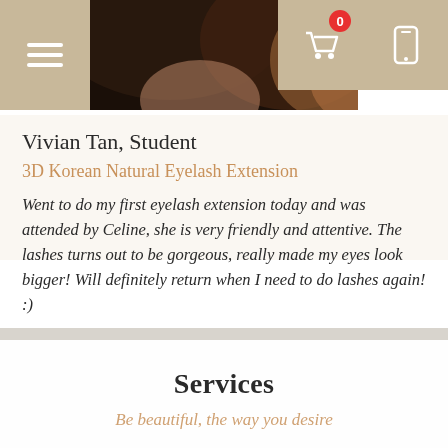[Figure (photo): Top navigation bar with hamburger menu on left, photo of a woman's face/hair in center, cart icon with badge showing 0 and mobile icon on right]
Vivian Tan, Student
3D Korean Natural Eyelash Extension
Went to do my first eyelash extension today and was attended by Celine, she is very friendly and attentive. The lashes turns out to be gorgeous, really made my eyes look bigger! Will definitely return when I need to do lashes again! :)
Services
Be beautiful, the way you desire